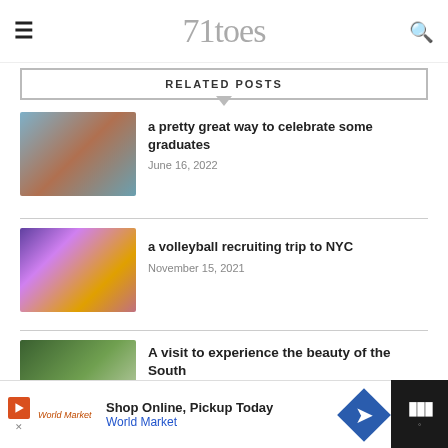71toes
RELATED POSTS
[Figure (photo): Landscape photo of red rock canyon with water, boat visible]
a pretty great way to celebrate some graduates
June 16, 2022
[Figure (photo): Night photo of Times Square NYC with colorful lights and wet pavement]
a volleyball recruiting trip to NYC
November 15, 2021
[Figure (photo): Looking up into blooming tree canopy with blue sky]
A visit to experience the beauty of the South
Shop Online, Pickup Today  World Market